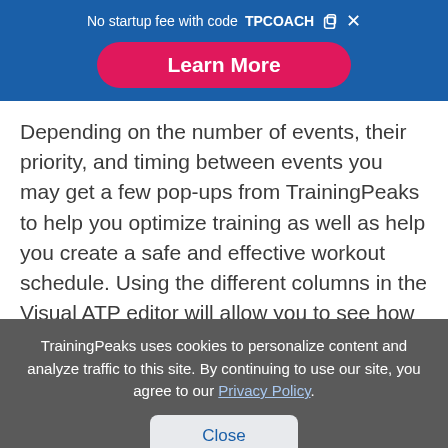No startup fee with code TPCOACH
Learn More
Depending on the number of events, their priority, and timing between events you may get a few pop-ups from TrainingPeaks to help you optimize training as well as help you create a safe and effective workout schedule. Using the different columns in the Visual ATP editor will allow you to see how much TSS the athlete will need to
TrainingPeaks uses cookies to personalize content and analyze traffic to this site. By continuing to use our site, you agree to our Privacy Policy.
Close